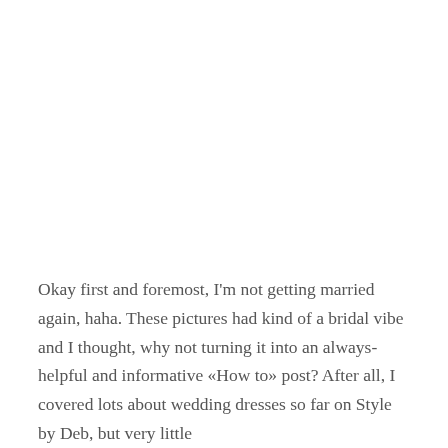Okay first and foremost, I'm not getting married again, haha. These pictures had kind of a bridal vibe and I thought, why not turning it into an always-helpful and informative «How to» post? After all, I covered lots about wedding dresses so far on Style by Deb, but very little